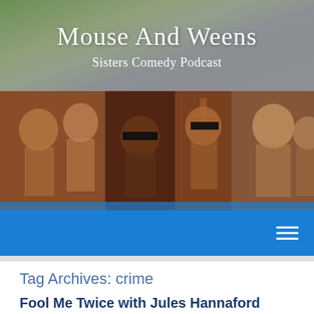Mouse And Weens
Sisters Comedy Podcast
[Figure (photo): Sepia-toned collage of vintage children's photos with a 'Mouse And Weens' logo overlay in the center. The logo has orange and teal sections. Some children have black bars over their eyes for anonymity.]
Navigation bar with hamburger menu icon on blue background
Tag Archives: crime
Fool Me Twice with Jules Hannaford